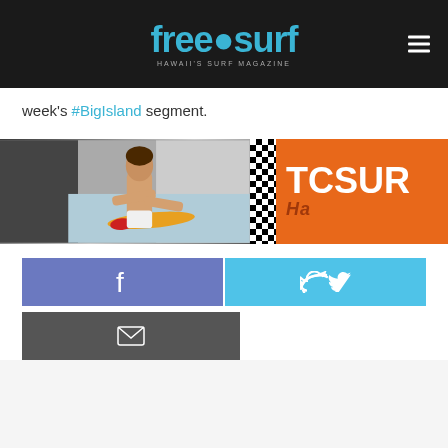freesurf - Hawaii's Surf Magazine
week's #BigIsland segment.
[Figure (photo): Banner image showing a surfer from behind holding a yellow surfboard next to the ocean, with a black and white checkered pattern, and an orange TCSURF logo panel on the right.]
[Figure (infographic): Social sharing buttons: Facebook (blue-purple), Twitter (light blue), and Email (dark gray) share buttons with icons.]